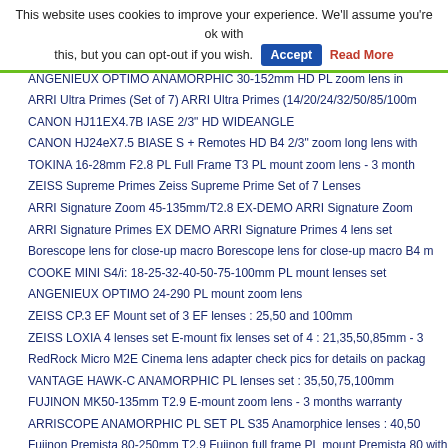This website uses cookies to improve your experience. We'll assume you're ok with this, but you can opt-out if you wish. Accept Read More
ANGENIEUX OPTIMO ANAMORPHIC 30-152mm HD PL zoom lens in
ARRI Ultra Primes (Set of 7) ARRI Ultra Primes (14/20/24/32/50/85/100m
CANON HJ11EX4.7B IASE 2/3" HD WIDEANGLE
CANON HJ24eX7.5 BIASE S + Remotes HD B4 2/3" zoom long lens with
TOKINA 16-28mm F2.8 PL Full Frame T3 PL mount zoom lens - 3 month
ZEISS Supreme Primes Zeiss Supreme Prime Set of 7 Lenses
ARRI Signature Zoom 45-135mm/T2.8 EX-DEMO ARRI Signature Zoom
ARRI Signature Primes EX DEMO ARRI Signature Primes 4 lens set
Borescope lens for close-up macro Borescope lens for close-up macro B4 m
COOKE MINI S4/i: 18-25-32-40-50-75-100mm PL mount lenses set
ANGENIEUX OPTIMO 24-290 PL mount zoom lens
ZEISS CP.3 EF Mount set of 3 EF lenses : 25,50 and 100mm
ZEISS LOXIA 4 lenses set E-mount fix lenses set of 4 : 21,35,50,85mm - 3
RedRock Micro M2E Cinema lens adapter check pics for details on packag
VANTAGE HAWK-C ANAMORPHIC PL lenses set : 35,50,75,100mm
FUJINON MK50-135mm T2.9 E-mount zoom lens - 3 months warranty
ARRISCOPE ANAMORPHIC PL SET PL S35 Anamorphice lenses : 40,50
Fujinon Premista 80-250mm T2.9 Fujinon full frame PL mount Premista 80 with full Fujinon warranty!
ARRI ULTRA PRIME 50,85,100mm PL mount lenses set of 3 in mint cond